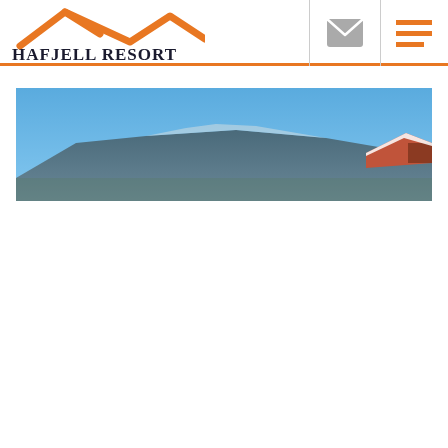[Figure (logo): Hafjell Resort logo with orange mountain/chalet roof graphic above the text 'HAFJELL RESORT' in dark serif font]
[Figure (photo): Panoramic photo of a snowy mountain landscape under a clear blue sky, with a snow-covered chalet roof visible at the right edge]